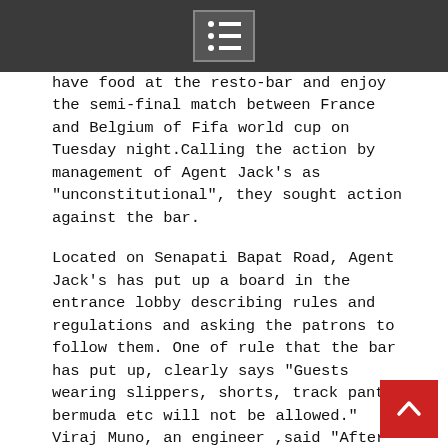have food at the resto-bar and enjoy the semi-final match between France and Belgium of Fifa world cup on Tuesday night.Calling the action by management of Agent Jack’s as “unconstitutional”, they sought action against the bar.
Located on Senapati Bapat Road, Agent Jack’s has put up a board in the entrance lobby describing rules and regulations and asking the patrons to follow them. One of rule that the bar has put up, clearly says “Guests wearing slippers, shorts, track pants, bermuda etc will not be allowed.” Viraj Muno, an engineer ,said “After hotel staff denied us permission,we approached the manager and explained the situation. He asked us to follow the rules. We have submitted a complaint to Chaturshrungi